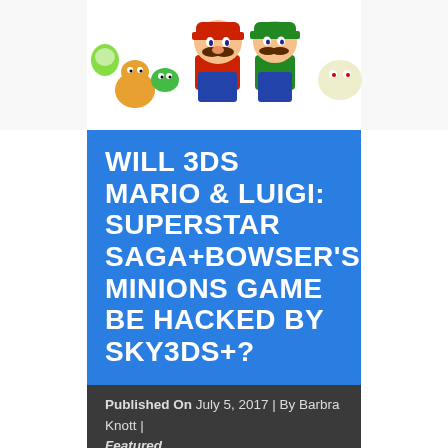[Figure (illustration): Mario, Luigi, and other Nintendo characters illustrated in colorful cartoon style against a white background — top portion of article page]
WILL 3DS MARIO & LUIGI: SUPERSTAR SAGA+BOWSER'S MINIONS GAME BE HACKED BY SKY3DS+?
Published On July 5, 2017 | By Barbra Knott | Featured
Many Mario&Luigi 3ds games are being hacked by Sky3ds+ to play for free on Nintendo 3DS. So what about the upcoming 3ds title Mario&Luigi: Superstar saga+Bowser's minions, which is a an enhanced remake of the 2003 Game Boy Advance game, Mario & Luigi: Superstar Saga, plus an added story called Minion Quest: The Search for Bowser.